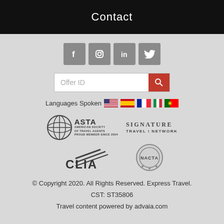Contact
[Figure (infographic): Social media icons: Facebook, Instagram, LinkedIn, Twitter on grey square buttons]
[Figure (infographic): Search input box with 'Offer ID' placeholder and red search button]
Languages Spoken [US flag] [Spain flag] [France flag] [Italy flag] [Portugal flag]
[Figure (logo): ASTA - American Society of Travel Agents, Proud Member Since 2004 logo]
[Figure (logo): Signature Travel Network logo]
[Figure (logo): CLIA logo]
[Figure (logo): NACTA medallion logo]
© Copyright 2020. All Rights Reserved. Express Travel.
CST: ST35806
Travel content powered by advaia.com